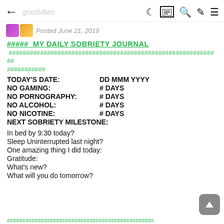← goodvibes 🌙 📰 🔍 ✏ ☰
Posted June 21, 2019
##### MY DAILY SOBRIETY JOURNAL ##################################################################### ###########
TODAY'S DATE:      DD MMM YYYY
NO GAMING:         # DAYS
NO PORNOGRAPHY: # DAYS
NO ALCOHOL:        # DAYS
NO NICOTINE:       # DAYS
NEXT SOBRIETY MILESTONE:
In bed by 9:30 today?
Sleep Uninterrupted last night?
One amazing thing I did today:
Gratitude:
What's new?
What will you do tomorrow?
##################################################